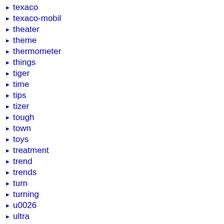texaco
texaco-mobil
theater
theme
thermometer
things
tiger
time
tips
tizer
tough
town
toys
treatment
trend
trends
turn
turning
u0026
ultra
unexpected
union
unique